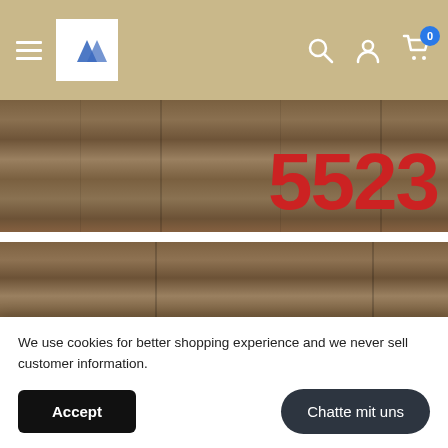[Figure (screenshot): E-commerce website navigation bar with hamburger menu, store logo (two triangles), search icon, account icon, and cart icon with badge showing 0]
[Figure (photo): Partial view of a tin sign showing large red numbers '5523' on a wood-grain background]
[Figure (photo): Indian Motorcycle vintage tin sign on orange background with Native American chief headdress logo and 'Indian.' script text, displayed on wood surface]
We use cookies for better shopping experience and we never sell customer information.
[Figure (screenshot): Cookie consent banner with Accept button and 'Chatte mit uns' (Chat with us) button]